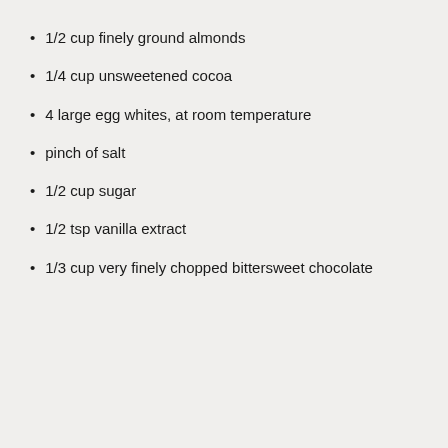1/2 cup finely ground almonds
1/4 cup unsweetened cocoa
4 large egg whites, at room temperature
pinch of salt
1/2 cup sugar
1/2 tsp vanilla extract
1/3 cup very finely chopped bittersweet chocolate